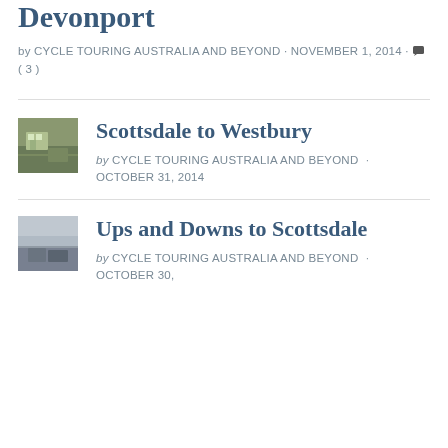Devonport
by CYCLE TOURING AUSTRALIA AND BEYOND · NOVEMBER 1, 2014 · (3)
[Figure (photo): Thumbnail image for Scottsdale to Westbury post]
Scottsdale to Westbury
by CYCLE TOURING AUSTRALIA AND BEYOND · OCTOBER 31, 2014
[Figure (photo): Thumbnail image for Ups and Downs to Scottsdale post]
Ups and Downs to Scottsdale
by CYCLE TOURING AUSTRALIA AND BEYOND · OCTOBER 30,